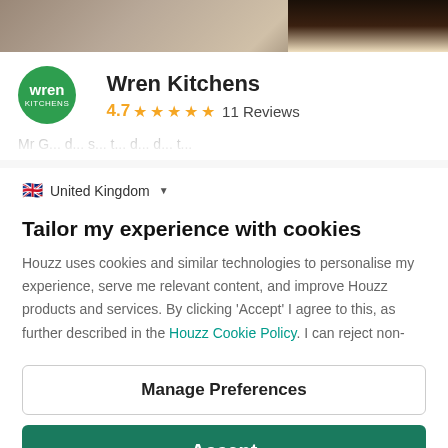[Figure (photo): Top image strip showing a kitchen/interior scene with dark wood tones]
[Figure (logo): Wren Kitchens circular green logo]
Wren Kitchens
4.7 ★★★★★ 11 Reviews
🇬🇧 United Kingdom ▼
Tailor my experience with cookies
Houzz uses cookies and similar technologies to personalise my experience, serve me relevant content, and improve Houzz products and services. By clicking 'Accept' I agree to this, as further described in the Houzz Cookie Policy. I can reject non-
Manage Preferences
Accept